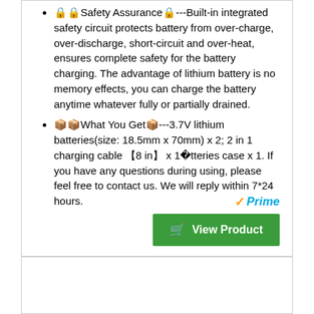🔒Safety Assurance🔒---Built-in integrated safety circuit protects battery from over-charge, over-discharge, short-circuit and over-heat, ensures complete safety for the battery charging. The advantage of lithium battery is no memory effects, you can charge the battery anytime whatever fully or partially drained.
📦What You Get📦---3.7V lithium batteries(size: 18.5mm x 70mm) x 2; 2 in 1 charging cable 【8 in】 x 1;Batteries case x 1. If you have any questions during using, please feel free to contact us. We will reply within 7*24 hours.
[Figure (logo): Amazon Prime logo with orange checkmark and blue italic Prime text, followed by a green View Product button with shopping cart icon]
RANK NO. 7